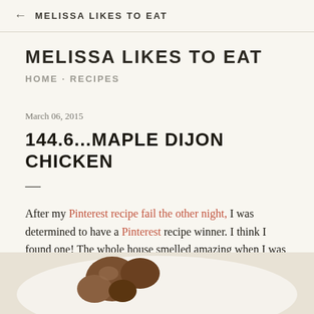← MELISSA LIKES TO EAT
MELISSA LIKES TO EAT
HOME · RECIPES
March 06, 2015
144.6...MAPLE DIJON CHICKEN
After my Pinterest recipe fail the other night, I was determined to have a Pinterest recipe winner. I think I found one! The whole house smelled amazing when I was baking this Maple Dijon Chicken.
[Figure (photo): Photo of maple dijon chicken with roasted potatoes on a white plate]